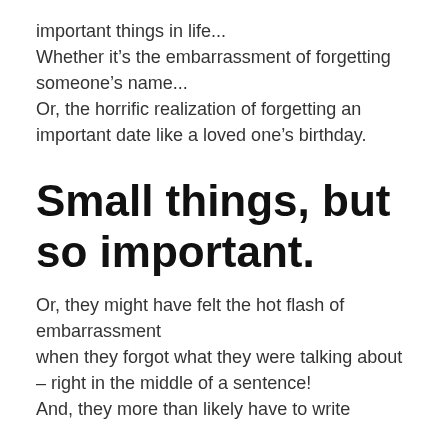important things in life...
Whether it’s the embarrassment of forgetting someone’s name...
Or, the horrific realization of forgetting an important date like a loved one’s birthday.
Small things, but so important.
Or, they might have felt the hot flash of embarrassment
when they forgot what they were talking about – right in the middle of a sentence!
And, they more than likely have to write